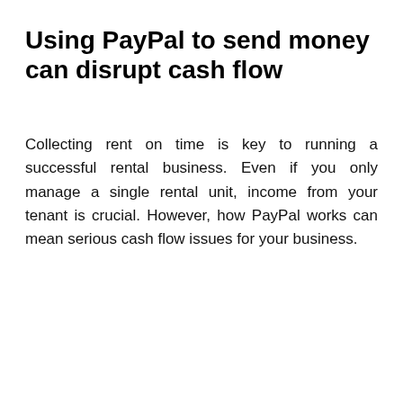Using PayPal to send money can disrupt cash flow
Collecting rent on time is key to running a successful rental business. Even if you only manage a single rental unit, income from your tenant is crucial. However, how PayPal works can mean serious cash flow issues for your business.
[Figure (infographic): Dark brown/charcoal background box with 'KEY INSIGHT' label in white uppercase small text, followed by large teal/cyan bold uppercase text reading 'RENTDROP HAS HELPFUL FEATURES FOR LANDLORDS THAT PAYPAL CAN'T']